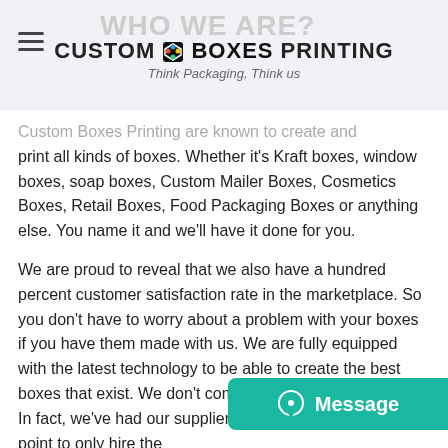WHO WE ARE? CUSTOM BOXES PRINTING — Think Packaging, Think us
Custom Boxes Printing are known to create and print all kinds of boxes. Whether it's Kraft boxes, window boxes, soap boxes, Custom Mailer Boxes, Cosmetics Boxes, Retail Boxes, Food Packaging Boxes or anything else. You name it and we'll have it done for you.
We are proud to reveal that we also have a hundred percent customer satisfaction rate in the marketplace. So you don't have to worry about a problem with your boxes if you have them made with us. We are fully equipped with the latest technology to be able to create the best boxes that exist. We don't compromise on quality either. In fact, we've had our suppliers for ages and we make it a point to only hire the